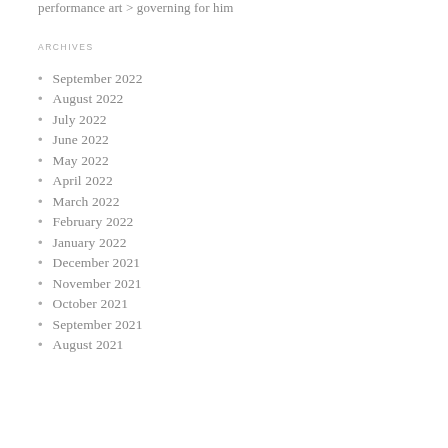performance art > governing for him
ARCHIVES
September 2022
August 2022
July 2022
June 2022
May 2022
April 2022
March 2022
February 2022
January 2022
December 2021
November 2021
October 2021
September 2021
August 2021